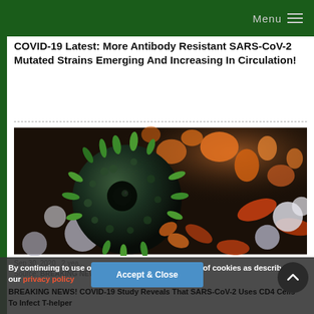Menu
COVID-19 Latest: More Antibody Resistant SARS-CoV-2 Mutated Strains Emerging And Increasing In Circulation!
[Figure (photo): Microscopic 3D illustration of SARS-CoV-2 coronavirus (dark green spiky sphere) surrounded by orange, white, and grey blood cells and immune cells on a dark background]
Sep 30, 2020  2 yea...
Source: BREAKING NEWS
BREAKING NEWS! COVID-19 Study Reveals That SARS-CoV-2 Uses CD4 Cells To Infect T-helper
By continuing to use our site you consent to the use of cookies as described in our privacy policy